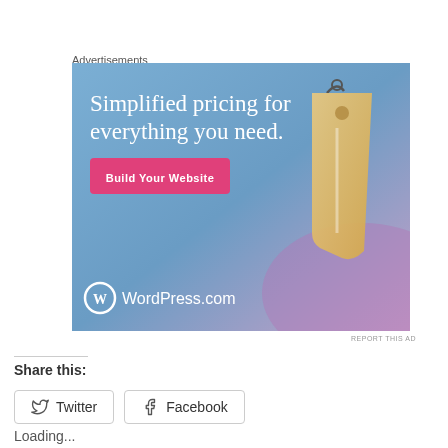Advertisements
[Figure (illustration): WordPress.com advertisement banner with gradient blue-purple background, white serif text 'Simplified pricing for everything you need.', a pink 'Build Your Website' button, a tan price tag illustration, and the WordPress.com logo at the bottom.]
REPORT THIS AD
Share this:
Twitter
Facebook
Loading...